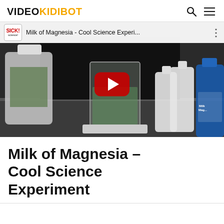VIDEOKIDIBOT
[Figure (screenshot): YouTube video thumbnail for 'Milk of Magnesia - Cool Science Experi...' by Sick Science! channel. Shows a beaker with green liquid on a lab bench, with bottles of chemicals. Red YouTube play button overlay. Top bar shows channel logo 'SICK! science' and video title.]
Milk of Magnesia – Cool Science Experiment